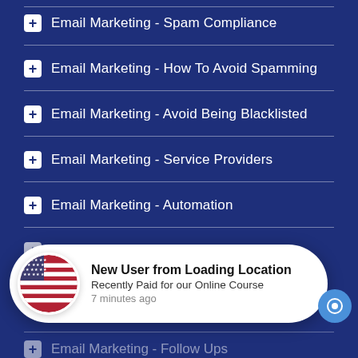Email Marketing - Spam Compliance
Email Marketing - How To Avoid Spamming
Email Marketing - Avoid Being Blacklisted
Email Marketing - Service Providers
Email Marketing - Automation
Email Marketing - Metrics (partially visible)
Email Marketing - Follow Ups (partially visible)
[Figure (infographic): Notification popup showing a US flag circle icon on the left, with text 'New User from Loading Location', 'Recently Paid for our Online Course', '7 minutes ago'. A blue chat button is visible at the bottom right.]